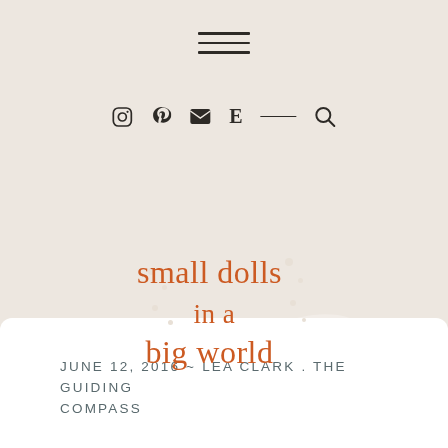Navigation menu and icons: Instagram, Pinterest, Email, E (Etsy), Search
small dolls in a big world
JUNE 12, 2016 ~ LEA CLARK .  THE GUIDING COMPASS